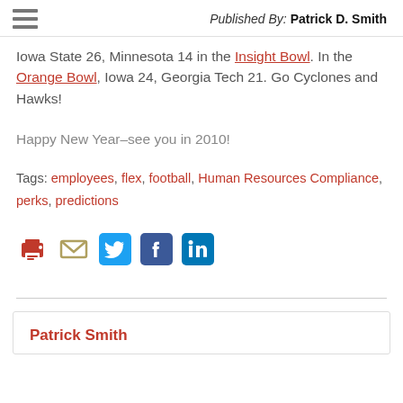Published By: Patrick D. Smith
Iowa State 26, Minnesota 14 in the Insight Bowl.  In the Orange Bowl, Iowa 24, Georgia Tech 21.  Go Cyclones and Hawks!
Happy New Year–see you in 2010!
Tags: employees, flex, football, Human Resources Compliance, perks, predictions
[Figure (other): Social sharing icons: print, email, Twitter, Facebook, LinkedIn]
Patrick Smith